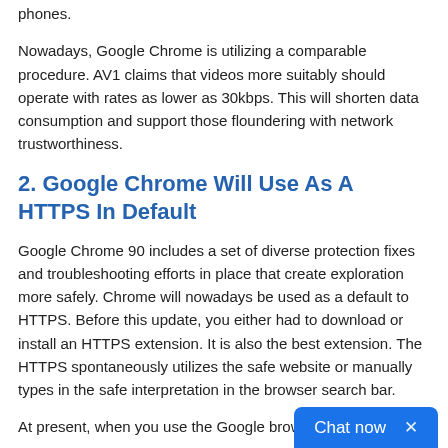phones.
Nowadays, Google Chrome is utilizing a comparable procedure. AV1 claims that videos more suitably should operate with rates as lower as 30kbps. This will shorten data consumption and support those floundering with network trustworthiness.
2. Google Chrome Will Use As A HTTPS In Default
Google Chrome 90 includes a set of diverse protection fixes and troubleshooting efforts in place that create exploration more safely. Chrome will nowadays be used as a default to HTTPS. Before this update, you either had to download or install an HTTPS extension. It is also the best extension. The HTTPS spontaneously utilizes the safe website or manually types in the safe interpretation in the browser search bar.
At present, when you use the Google brow…